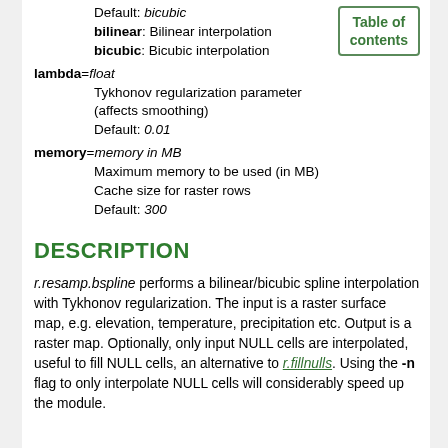Default: bicubic
bilinear: Bilinear interpolation
bicubic: Bicubic interpolation
lambda=float
  Tykhonov regularization parameter (affects smoothing)
  Default: 0.01
memory=memory in MB
  Maximum memory to be used (in MB)
  Cache size for raster rows
  Default: 300
DESCRIPTION
r.resamp.bspline performs a bilinear/bicubic spline interpolation with Tykhonov regularization. The input is a raster surface map, e.g. elevation, temperature, precipitation etc. Output is a raster map. Optionally, only input NULL cells are interpolated, useful to fill NULL cells, an alternative to r.fillnulls. Using the -n flag to only interpolate NULL cells will considerably speed up the module.